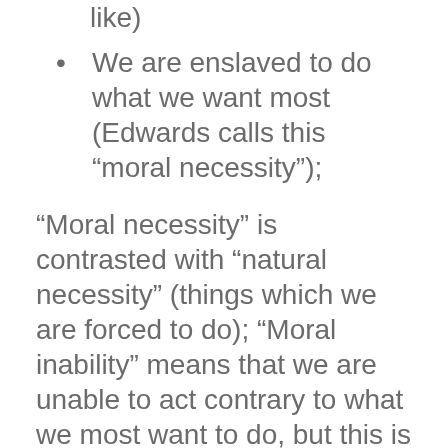like)
We are enslaved to do what we want most (Edwards calls this “moral necessity”);
“Moral necessity” is contrasted with “natural necessity” (things which we are forced to do); “Moral inability” means that we are unable to act contrary to what we most want to do, but this is not the same thing as “natural inability”.
So, for example, I cannot imagine God